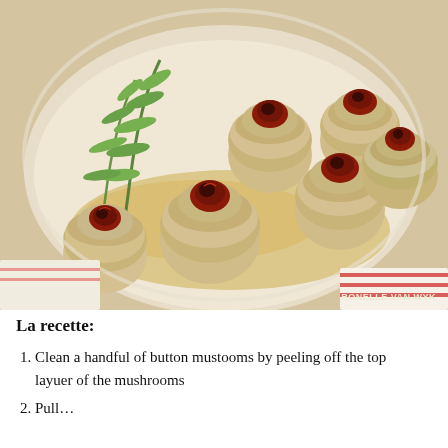[Figure (photo): Stuffed button mushrooms filled with a cheese and herb mixture, topped with roasted cherry tomatoes, served in a white oval baking dish with golden sauce and fresh tarragon sprigs. Photo credit: RONELLE VAN WYK]
La recette:
1. Clean a handful of button mustooms by peeling off the top layuer of the mushrooms
2. Pull…